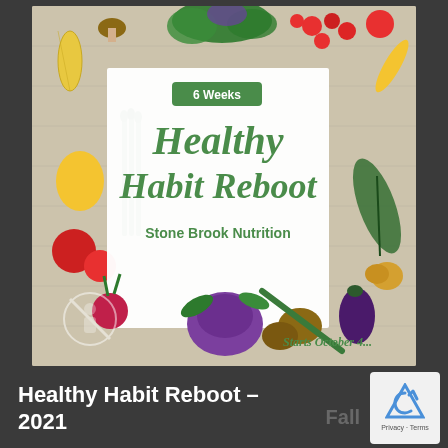[Figure (illustration): Promotional image for 'Healthy Habit Reboot' program by Stone Brook Nutrition. A white card overlay on a background of colorful vegetables (corn, tomatoes, peppers, mushrooms, asparagus, eggplant, kohlrabi, herbs, etc.) shows a green badge reading '6 Weeks', large green italic text 'Healthy Habit Reboot', subtitle 'Stone Brook Nutrition', and bottom-right text 'Starts October 4...'. A crossed-out icon appears bottom-left.]
Healthy Habit Reboot – Fall 2021